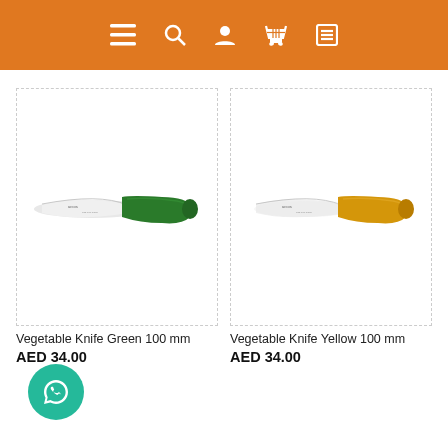Navigation bar with menu, search, account, cart, and list icons
[Figure (photo): Vegetable Knife with green handle, 100mm blade, product image on white background]
[Figure (photo): Vegetable Knife with yellow handle, 100mm blade, product image on white background]
Vegetable Knife Green 100 mm
AED 34.00
Vegetable Knife Yellow 100 mm
AED 34.00
[Figure (illustration): WhatsApp chat button (teal circle with WhatsApp speech bubble icon)]